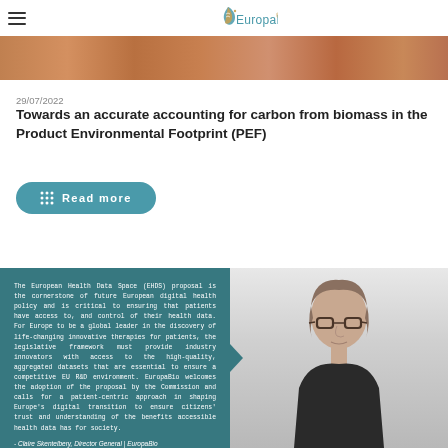EuropaBio
[Figure (photo): Brown seeds/nuts textured hero image strip]
29/07/2022
Towards an accurate accounting for carbon from biomass in the Product Environmental Footprint (PEF)
Read more
[Figure (photo): Quote card with teal background and photo of Claire Skentelbery, Director General of EuropaBio. Quote: The European Health Data Space (EHDS) proposal is the cornerstone of future European digital health policy and is critical to ensuring that patients have access to, and control of their health data. For Europe to be a global leader in the discovery of life-changing innovative therapies for patients, the legislative framework must provide industry innovators with access to the high-quality, aggregated datasets that are essential to ensure a competitive EU R&D environment. EuropaBio welcomes the adoption of the proposal by the Commission and calls for a patient-centric approach in shaping Europe's digital transition to ensure citizens' trust and understanding of the benefits accessible health data has for society. - Claire Skentelbery, Director General | EuropaBio]